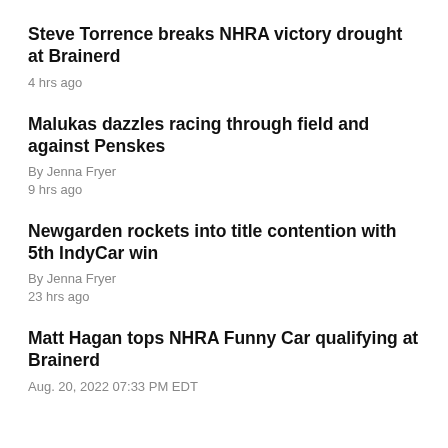Steve Torrence breaks NHRA victory drought at Brainerd
4 hrs ago
Malukas dazzles racing through field and against Penskes
By Jenna Fryer
9 hrs ago
Newgarden rockets into title contention with 5th IndyCar win
By Jenna Fryer
23 hrs ago
Matt Hagan tops NHRA Funny Car qualifying at Brainerd
Aug. 20, 2022 07:33 PM EDT